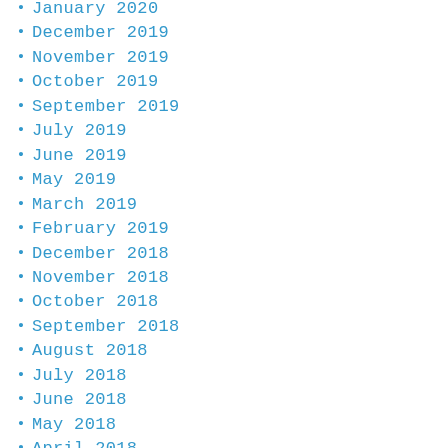January 2020
December 2019
November 2019
October 2019
September 2019
July 2019
June 2019
May 2019
March 2019
February 2019
December 2018
November 2018
October 2018
September 2018
August 2018
July 2018
June 2018
May 2018
April 2018
January 2018
December 2017
November 2017
October 2017
August 2017
May 2017
April 2017